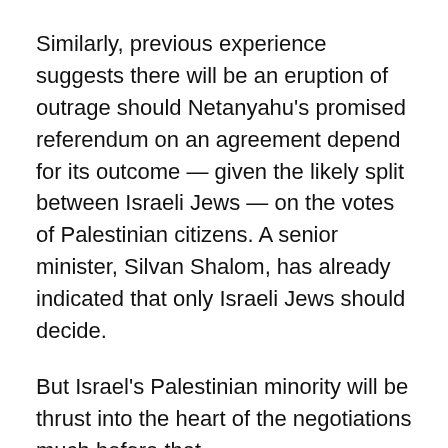Similarly, previous experience suggests there will be an eruption of outrage should Netanyahu's promised referendum on an agreement depend for its outcome — given the likely split between Israeli Jews — on the votes of Palestinian citizens. A senior minister, Silvan Shalom, has already indicated that only Israeli Jews should decide.
But Israel's Palestinian minority will be thrust into the heart of the negotiations much before that.
Last weekend Netanyahu picked at one of the Israeli right's favourite sores, denouncing reported comments from Abbas that no Israeli should be allowed to remain inside a future Palestinian state. Why, asks the right, should Israelis — meaning the settlers — be expelled from a Palestinian state while Israel is left with a large and growing Palestinian population inside its borders?